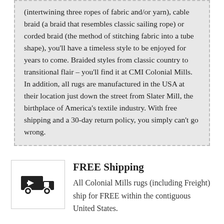(intertwining three ropes of fabric and/or yarn), cable braid (a braid that resembles classic sailing rope) or corded braid (the method of stitching fabric into a tube shape), you'll have a timeless style to be enjoyed for years to come. Braided styles from classic country to transitional flair – you'll find it at CMI Colonial Mills. In addition, all rugs are manufactured in the USA at their location just down the street from Slater Mill, the birthplace of America's textile industry. With free shipping and a 30-day return policy, you simply can't go wrong.
FREE Shipping
All Colonial Mills rugs (including Freight) ship for FREE within the contiguous United States.
NO restocking fee
We do not charge a restocking fee for any returnable Colonial Mills rugs.
Price Match Guarantee
If you find a Colonial Mills rug on another site for less